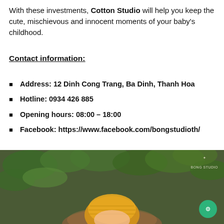With these investments, Cotton Studio will help you keep the cute, mischievous and innocent moments of your baby's childhood.
Contact information:
Address: 12 Dinh Cong Trang, Ba Dinh, Thanh Hoa
Hotline: 0934 426 885
Opening hours: 08:00 – 18:00
Facebook: https://www.facebook.com/bongstudioth/
[Figure (photo): Photo of a baby wearing a yellow knitted hat, set against a background of green leafy plants and wooden elements. The Bong Studio watermark logo appears in the upper right corner. A green chat button is visible in the lower right.]